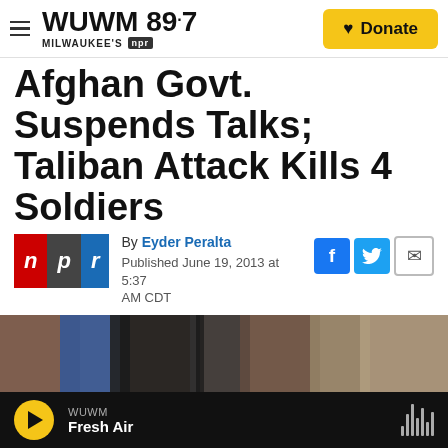WUWM 89.7 MILWAUKEE'S NPR | Donate
Afghan Govt. Suspends Talks; Taliban Attack Kills 4 Soldiers
By Eyder Peralta
Published June 19, 2013 at 5:37 AM CDT
[Figure (photo): Partial photo of people at an event, cropped, shown behind the article byline area]
WUWM Fresh Air